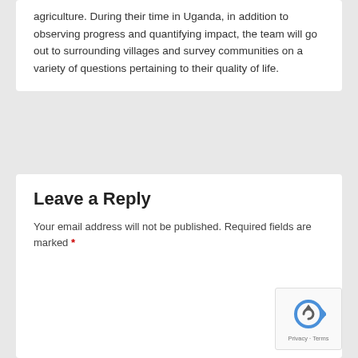agriculture. During their time in Uganda, in addition to observing progress and quantifying impact, the team will go out to surrounding villages and survey communities on a variety of questions pertaining to their quality of life.
Leave a Reply
Your email address will not be published. Required fields are marked *
[Figure (other): Empty comment text area input field]
[Figure (other): reCAPTCHA badge with recycling arrows icon and Privacy - Terms text]